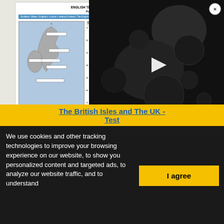ENGLISH TEST - THE BRITISH ISLES & THE UNITED KINGDOM
PUT THE WORDS BELOW IN THE CORRECT LABEL
Scotland / Wales / England / London / Ireland & Ireland / The English Channel
[Figure (illustration): Map of the British Isles with blank labels to fill in]
CHOOSE THE CORRECT ANSWER
1. The channel in the picture shown: a) Off the north-west coast of Britain b) Below Great Britain c) Off the north-west coast of Ireland
2. The English Channel: a) Is between Northern-south of France b) Is North-East beneath England and Wales c) Is called 'Sea'
3. The flag of Scotland is called: a) The Union of Jack b) The Cross of Cross c) The Celtic Bell
4. Great Britain is made up of: a) England, Wales, Scotland b) England, Wales, Scotland, Northern Ireland c) England, Wales, Scotland, Ireland
5. The longest river in the UK is: a) The Thames b) The Severn c) The Exe Waye
6. The highest mountain in Britain is: a) The Highlands b) The Pennines c) The Ben Nevis
7. The UK consists of: a) England, Wales, Scotland b) England, Wales, Scotland, Northern Ireland c) England, Wales, Scotland, Ireland
| LONDON - True or False? | T | F |
| --- | --- | --- |
| The favourite London is London | T | F |
| The Tower of London is a prison | T | F |
| Tower Bridge is not the best THING? | T | F |
| Big Ben is a clock | T | F |
| The London Eye is opened since above | T | F |
| Westminster Abbey is a home | T | F |
| The station of Euro is in Hyde Park | T | F |
| The Millennium Dome is very big | T | F |
COMPLETE THESE SENTENCES
1. Great Britain is ___
2. London is ___
3. The Thames is ___
4. The British Isles are ___
5. In London you can visit ___
Name ___
The British Isles and The UK - Test
We use cookies and other tracking technologies to improve your browsing experience on our website, to show you personalized content and targeted ads, to analyze our website traffic, and to understand
I agree